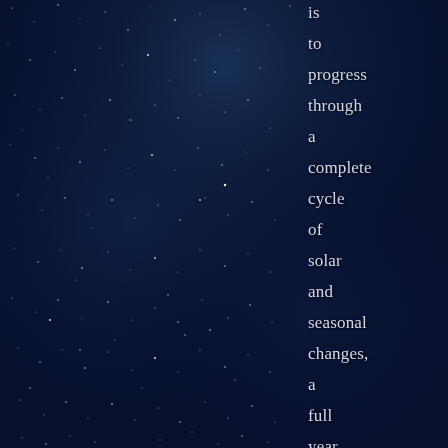[Figure (photo): Night sky filled with stars — deep blue and dark navy background with scattered white star points, resembling the Milky Way galaxy.]
is to progress through a complete cycle of solar and seasonal changes, a full year. It is to experience